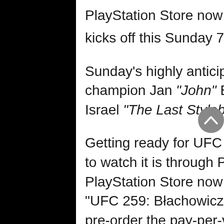PlayStation Store now to prepare for the event when it kicks off this Sunday 7th March.
Sunday's highly anticipated fight will see light heavyweight champion Jan "John" Błachowicz battle it out against Israel "The Last Stylebender" Adesanya.
Getting ready for UFC 259 is simple and the perfect way to watch it is through PS4 Live Events. Head to PlayStation Store now from your PS4 and search for "UFC 259: Błachowicz vs. Adesanya". PS4 owners can pre-order the pay-per-view event today. And that's it: you're all set!
Purchased content will appear in 'My Videos' App on the PS4 dashboard and a handy timer countdown will keep you informed as to when the event starts. You'll be able to watch the live stream as soon as the event starts.